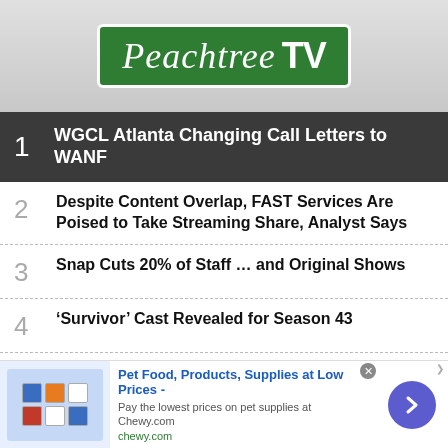[Figure (logo): Peachtree TV green street-sign style logo]
1 WGCL Atlanta Changing Call Letters to WANF
2 Despite Content Overlap, FAST Services Are Poised to Take Streaming Share, Analyst Says
3 Snap Cuts 20% of Staff ... and Original Shows
4 ‘Survivor’ Cast Revealed for Season 43
5 Paramount Plus Integrates Showtime Into Single App, Promo Prices Bundle at $7.99
[Figure (screenshot): Advertisement banner: Pet Food, Products, Supplies at Low Prices - Chewy.com]